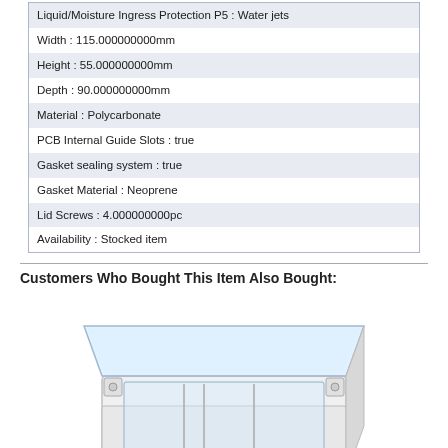| Liquid/Moisture Ingress Protection P5 : Water jets |
| Width : 115.000000000mm |
| Height : 55.000000000mm |
| Depth : 90.000000000mm |
| Material : Polycarbonate |
| PCB Internal Guide Slots : true |
| Gasket sealing system : true |
| Gasket Material : Neoprene |
| Lid Screws : 4.000000000pc |
| Availability : Stocked item |
Customers Who Bought This Item Also Bought:
[Figure (photo): Photograph of a polycarbonate enclosure box with clear lid, white base, showing internal PCB guide slots and lid screws at corners.]